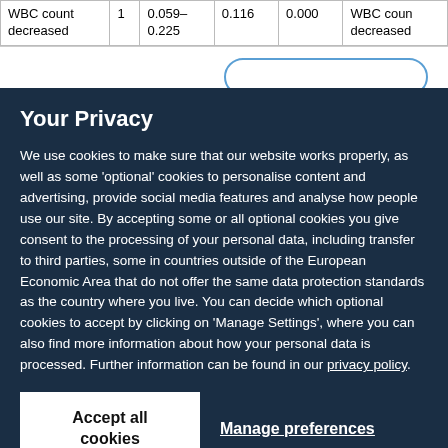|  |  |  |  |  |  |
| --- | --- | --- | --- | --- | --- |
| WBC count decreased | 1 | 0.059–0.225 | 0.116 | 0.000 | WBC count decreased |
Your Privacy
We use cookies to make sure that our website works properly, as well as some 'optional' cookies to personalise content and advertising, provide social media features and analyse how people use our site. By accepting some or all optional cookies you give consent to the processing of your personal data, including transfer to third parties, some in countries outside of the European Economic Area that do not offer the same data protection standards as the country where you live. You can decide which optional cookies to accept by clicking on 'Manage Settings', where you can also find more information about how your personal data is processed. Further information can be found in our privacy policy.
Accept all cookies
Manage preferences